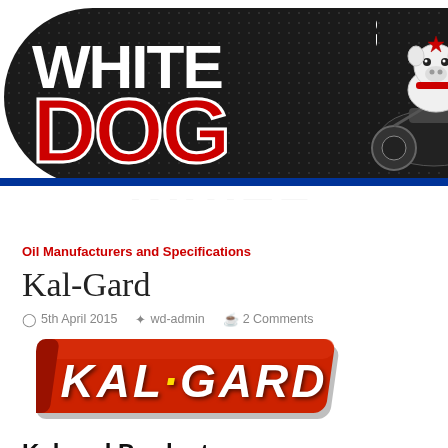[Figure (logo): White Dog Lube Blog logo — dark oval/skateboard shape with dot pattern, 'WHITE' in white bold text, 'DOG' in large red bold text, 'LUB BLOG' vertical white text on right, bulldog on motorcycle graphic on right side, blue stripe below]
[Figure (logo): Kal-Gard logo — red parallelogram shape with white bold italic text reading KAL·GARD]
Oil Manufacturers and Specifications
Kal-Gard
5th April 2015   wd-admin   2 Comments
Kalgard Products
About Kal-Gard